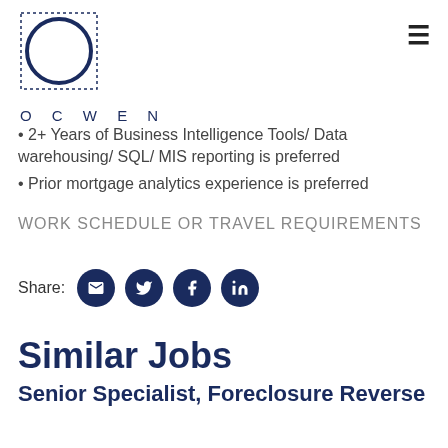[Figure (logo): Ocwen company logo: circle with dotted border square, and OCWEN text below]
2+ Years of Business Intelligence Tools/ Data warehousing/ SQL/ MIS reporting is preferred
Prior mortgage analytics experience is preferred
WORK SCHEDULE OR TRAVEL REQUIREMENTS
Share: [email] [twitter] [facebook] [linkedin]
Similar Jobs
Senior Specialist, Foreclosure Reverse